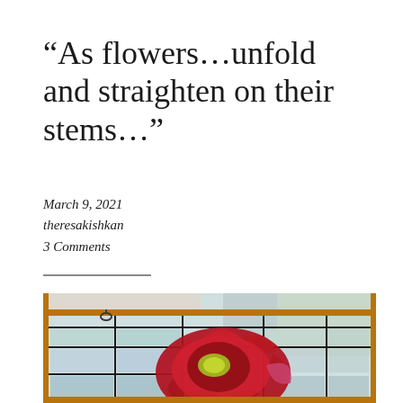“As flowers…unfold and straighten on their stems…”
March 9, 2021
theresakishkan
3 Comments
[Figure (photo): A stained glass panel featuring a large red flower with a yellow-green center, framed in copper/brass, hanging by a chain in front of a window with trees visible in the background.]